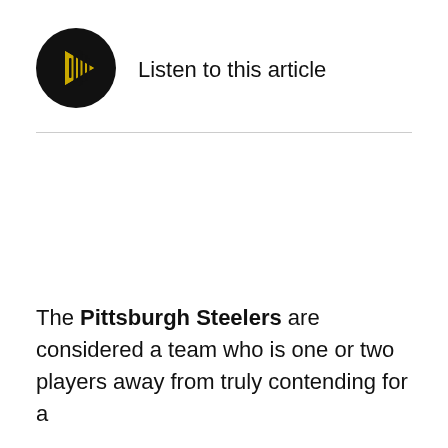[Figure (other): Black circular play button with a yellow/gold play triangle icon and sound wave bars, representing an audio player widget]
Listen to this article
The Pittsburgh Steelers are considered a team who is one or two players away from truly contending for a